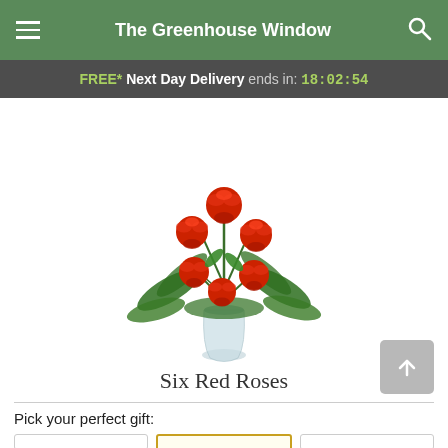The Greenhouse Window
FREE* Next Day Delivery ends in: 18:02:54
[Figure (photo): A bouquet of six red roses with green fern leaves arranged in a clear glass vase]
Six Red Roses
Pick your perfect gift: